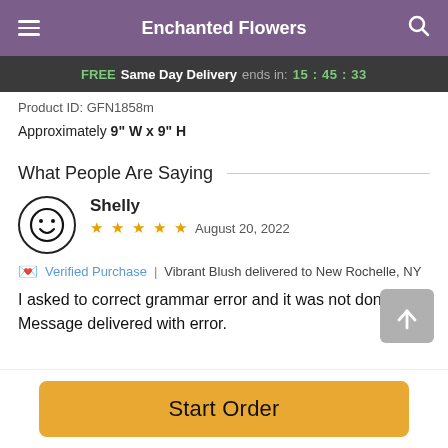Enchanted Flowers
FREE Same Day Delivery ends in: 15:45:33
Product ID: GFN1858m
Approximately 9" W x 9" H
What People Are Saying
Shelly
★★★★★ August 20, 2022
Verified Purchase | Vibrant Blush delivered to New Rochelle, NY
I asked to correct grammar error and it was not done. Message delivered with error.
Start Order